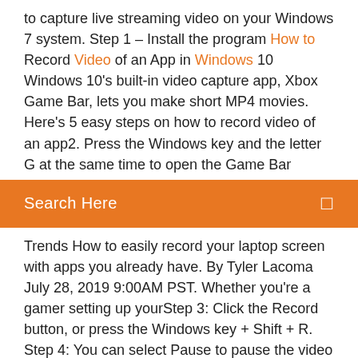to capture live streaming video on your Windows 7 system. Step 1 – Install the program How to Record Video of an App in Windows 10 Windows 10's built-in video capture app, Xbox Game Bar, lets you make short MP4 movies. Here's 5 easy steps on how to record video of an app2. Press the Windows key and the letter G at the same time to open the Game Bar
[Figure (screenshot): Orange search bar with white text 'Search Here' and a small icon on the right]
Trends How to easily record your laptop screen with apps you already have. By Tyler Lacoma July 28, 2019 9:00AM PST. Whether you're a gamer setting up yourStep 3: Click the Record button, or press the Windows key + Shift + R. Step 4: You can select Pause to pause the video when you want, and Stop... How to record windows 7, 8, 10 screen perfectly
https://thundersoft-free-screen-recorder.en.softonic.com/
https://www.filehorse.com/download-movavi-screen-recorder/
https://getsharex.com/, https://operating-